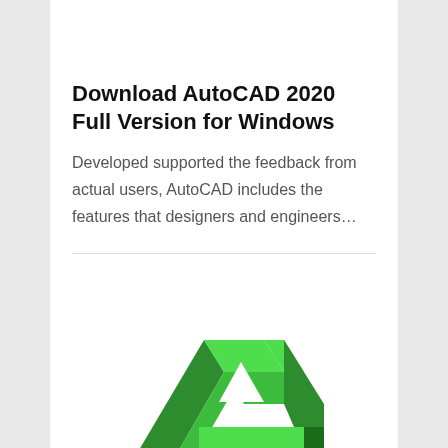Download AutoCAD 2020 Full Version for Windows
Developed supported the feedback from actual users, AutoCAD includes the features that designers and engineers…
[Figure (logo): AutoCAD 2020 green 3D triangular logo resembling an impossible triangle shape with beveled edges]